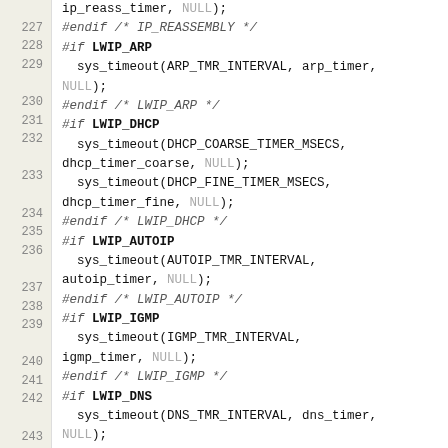[Figure (screenshot): Source code listing showing C preprocessor conditional blocks (lines 227-243) for lwIP network stack timer initialization, including IP reassembly, ARP, DHCP, AutoIP, IGMP, and DNS timer setup via sys_timeout calls.]